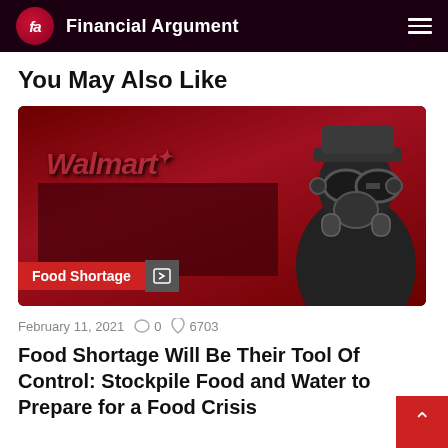fa Financial Argument
You May Also Like
[Figure (photo): Red-tinted image of a Walmart store exterior with a person wearing a gas mask in the foreground. A red badge reading 'Food Shortage' appears in the lower left corner.]
February 11, 2021   0   6703
Food Shortage Will Be Their Tool Of Control: Stockpile Food and Water to Prepare for a Food Crisis